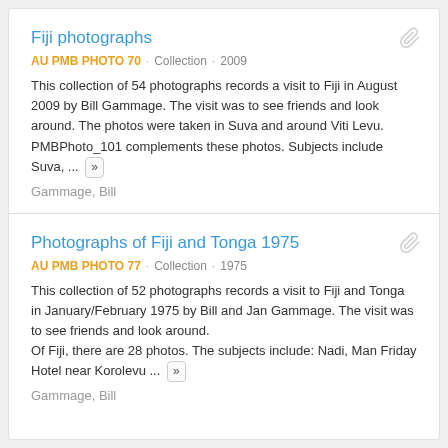Fiji photographs
AU PMB PHOTO 70 · Collection · 2009
This collection of 54 photographs records a visit to Fiji in August 2009 by Bill Gammage. The visit was to see friends and look around. The photos were taken in Suva and around Viti Levu. PMBPhoto_101 complements these photos. Subjects include Suva, ... »
Gammage, Bill
Photographs of Fiji and Tonga 1975
AU PMB PHOTO 77 · Collection · 1975
This collection of 52 photographs records a visit to Fiji and Tonga in January/February 1975 by Bill and Jan Gammage. The visit was to see friends and look around.
Of Fiji, there are 28 photos. The subjects include: Nadi, Man Friday Hotel near Korolevu ... »
Gammage, Bill